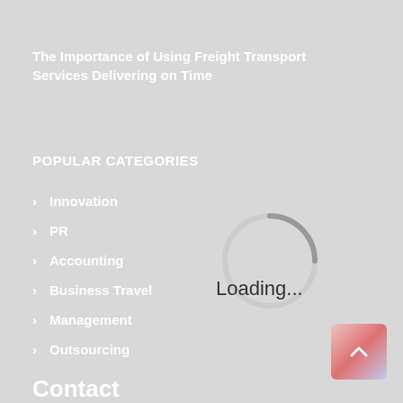The Importance of Using Freight Transport Services Delivering on Time
POPULAR CATEGORIES
Innovation
PR
Accounting
Business Travel
Management
Outsourcing
[Figure (other): Loading spinner animation with arc shape and 'Loading...' text]
[Figure (other): Scroll-to-top button with upward chevron arrow icon in bottom right corner]
Contact